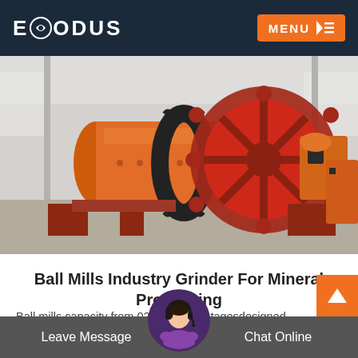EXODUS  MENU
[Figure (photo): Large orange industrial ball mill grinder machine inside a factory warehouse. The machine has a large cylindrical drum with a gear ring around it, displayed on a concrete floor.]
Ball Mills Industry Grinder For Mineral Processing
Ball mills capacity from 0290 th advantagesdesigned for long service life minimum maintenance can grind and homoge
Leave Message   Chat Online